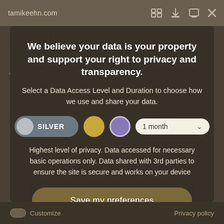tamikeehn.com
We believe your data is your property and support your right to privacy and transparency.
Select a Data Access Level and Duration to choose how we use and share your data.
SILVER | 1 month
Highest level of privacy. Data accessed for necessary basic operations only. Data shared with 3rd parties to ensure the site is secure and works on your device
Save my preferences
Customize   Privacy policy